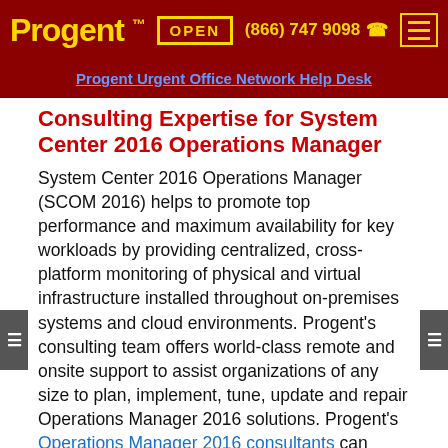Progent™  OPEN  (866) 747 9098  ☎
Progent Urgent Office Network Help Desk
Consulting Expertise for System Center 2016 Operations Manager
System Center 2016 Operations Manager (SCOM 2016) helps to promote top performance and maximum availability for key workloads by providing centralized, cross-platform monitoring of physical and virtual infrastructure installed throughout on-premises systems and cloud environments. Progent's consulting team offers world-class remote and onsite support to assist organizations of any size to plan, implement, tune, update and repair Operations Manager 2016 solutions. Progent's Operations Manager 2016 consultants can assist you to move to Operations Manager 2016 from older releases or from other monitoring products, or combine a variety of monitoring systems into a